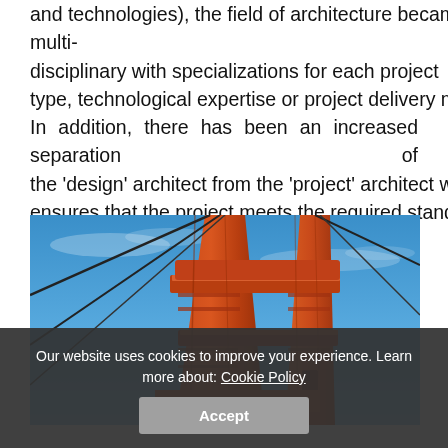and technologies), the field of architecture became multi-disciplinary with specializations for each project type, technological expertise or project delivery methods. In addition, there has been an increased separation of the 'design' architect from the 'project' architect who ensures that the project meets the required standards and deals with matters of liability.
[Figure (photo): Low-angle view looking up at the red-orange steel tower of the Golden Gate Bridge against a bright blue sky with cables visible diagonally across the frame.]
Our website uses cookies to improve your experience. Learn more about: Cookie Policy
Accept